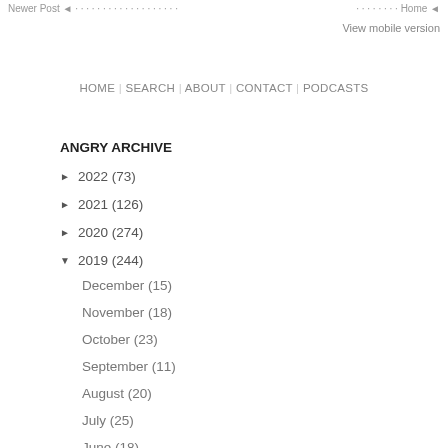Newer Post ◄ · · · · · · · · · · · · · · · · · · · · · · · · · · · · Home ◄
View mobile version
HOME | SEARCH | ABOUT | CONTACT | PODCASTS
ANGRY ARCHIVE
► 2022 (73)
► 2021 (126)
► 2020 (274)
▼ 2019 (244)
December (15)
November (18)
October (23)
September (11)
August (20)
July (25)
June (18)
May (32)
April (13)